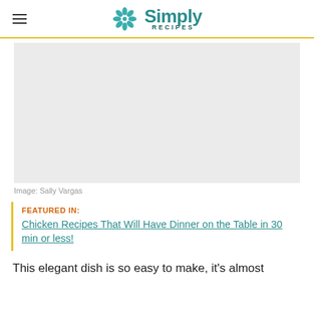Simply Recipes
[Figure (photo): Large placeholder image area (light gray) — food photo by Sally Vargas]
Image: Sally Vargas
FEATURED IN: Chicken Recipes That Will Have Dinner on the Table in 30 min or less!
This elegant dish is so easy to make, it's almost